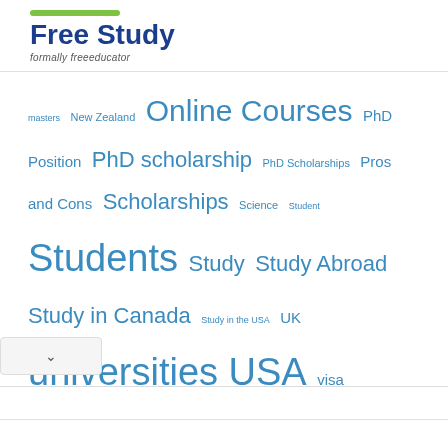[Figure (logo): Free Study logo with green bar accent and tagline 'formally freeeducator']
masters New Zealand Online Courses PhD Position PhD scholarship PhD Scholarships Pros and Cons Scholarships Science Student Students Study Study Abroad Study in Canada Study in the USA UK universities USA visa